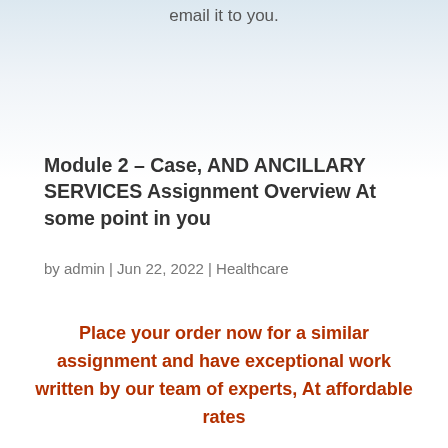email it to you.
Module 2 – Case, AND ANCILLARY SERVICES Assignment Overview At some point in you
by admin | Jun 22, 2022 | Healthcare
Place your order now for a similar assignment and have exceptional work written by our team of experts, At affordable rates